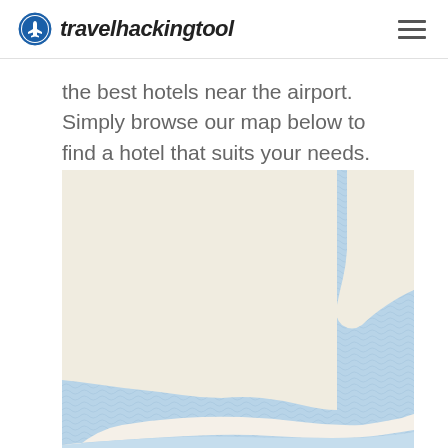travelhackingtool
the best hotels near the airport. Simply browse our map below to find a hotel that suits your needs.
[Figure (map): A partial map showing land (beige/cream color) and water (light blue) areas, with a coastline or river boundary visible, representing hotel locations near an airport.]